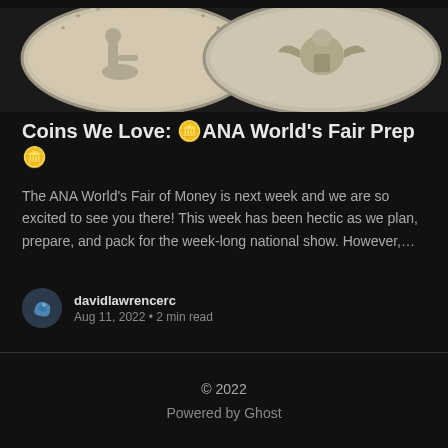[Figure (photo): Two antique silver coins side by side: obverse showing seated Liberty figure and reverse showing an eagle, both with milled edges on black background]
Coins We Love: 🪙ANA World's Fair Prep🪙
The ANA World's Fair of Money is next week and we are so excited to see you there! This week has been hectic as we plan, prepare, and pack for the week-long national show. However,…
davidlawrencerc
Aug 11, 2022 • 2 min read
© 2022
Powered by Ghost